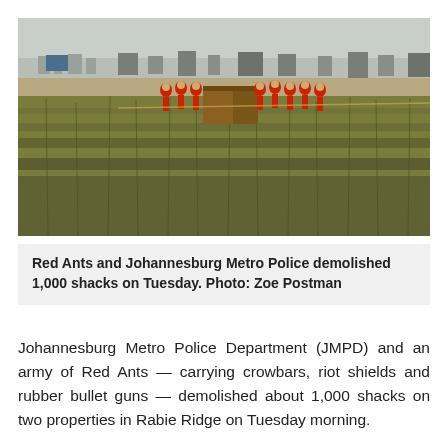[Figure (photo): Outdoor photograph showing a large group of people in red jumpsuits standing in tall grassland, with a hazy townscape in the background. The workers appear to be demolishing a structure.]
Red Ants and Johannesburg Metro Police demolished 1,000 shacks on Tuesday. Photo: Zoe Postman
Johannesburg Metro Police Department (JMPD) and an army of Red Ants — carrying crowbars, riot shields and rubber bullet guns — demolished about 1,000 shacks on two properties in Rabie Ridge on Tuesday morning.